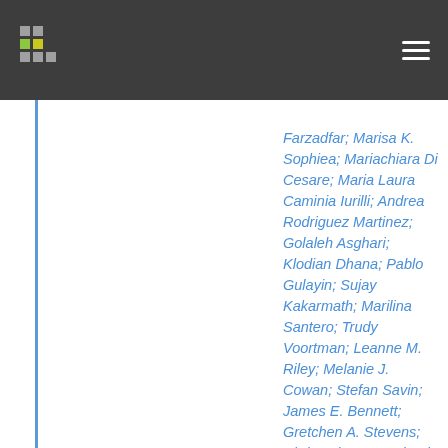Farzadfar; Marisa K. Sophiea; Mariachiara Di Cesare; Maria Laura Caminia Iurilli; Andrea Rodriguez Martinez; Golaleh Asghari; Klodian Dhana; Pablo Gulayin; Sujay Kakarmath; Marilina Santero; Trudy Voortman; Leanne M. Riley; Melanie J. Cowan; Stefan Savin; James E. Bennett; Gretchen A. Stevens; Christopher J. Paciorek; Wichai